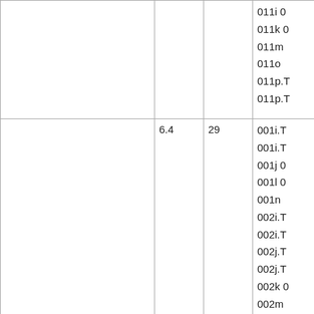|  |  |  | 011i 0
011k 0
011m
011o
011p.T
011p.T |
|  | 6.4 | 29 | 001i.T
001i.T
001j 0
001l 0
001n
002i.T
002i.T
002j.T
002j.T
002k 0
002m
003j.T
003j.T |